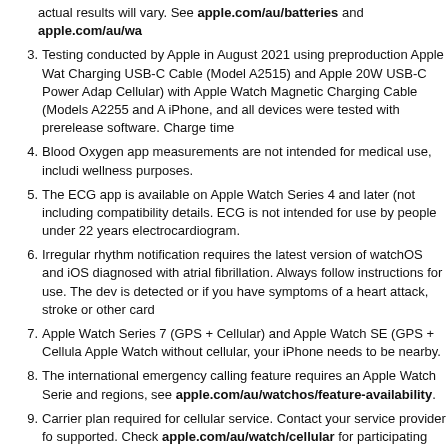actual results will vary. See apple.com/au/batteries and apple.com/au/wa
3. Testing conducted by Apple in August 2021 using preproduction Apple Watch Charging USB-C Cable (Model A2515) and Apple 20W USB-C Power Adapter Cellular) with Apple Watch Magnetic Charging Cable (Models A2255 and A iPhone, and all devices were tested with prerelease software. Charge time
4. Blood Oxygen app measurements are not intended for medical use, including wellness purposes.
5. The ECG app is available on Apple Watch Series 4 and later (not including compatibility details. ECG is not intended for use by people under 22 years electrocardiogram.
6. Irregular rhythm notification requires the latest version of watchOS and iOS diagnosed with atrial fibrillation. Always follow instructions for use. The dev is detected or if you have symptoms of a heart attack, stroke or other card
7. Apple Watch Series 7 (GPS + Cellular) and Apple Watch SE (GPS + Cellular Apple Watch without cellular, your iPhone needs to be nearby.
8. The international emergency calling feature requires an Apple Watch Series and regions, see apple.com/au/watchos/feature-availability.
9. Carrier plan required for cellular service. Contact your service provider for supported. Check apple.com/au/watch/cellular for participating carriers and
10. Not all features will be available if the Apple Watch is set up through Family Check apple.com/au/watch/cellular for participating carriers and eligibility
Apple Watch requires an iPhone 6s or later with iOS 15 or later.
watchOS 9 requires Apple Watch SE or Apple Watch Series 4 or later, paired with
Leather and stainless steel bands are not water-resistant.
Case and band combinations can only be made within collections (Apple Watch